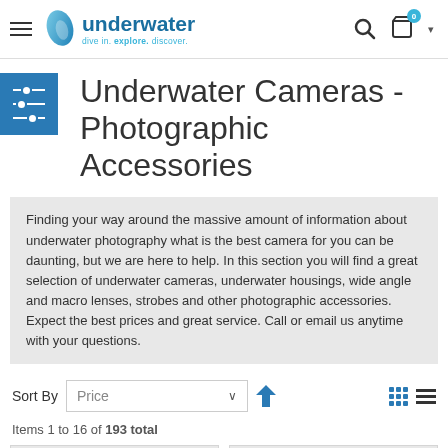underwater - dive in. explore. discover.
Underwater Cameras - Photographic Accessories
Finding your way around the massive amount of information about underwater photography what is the best camera for you can be daunting, but we are here to help. In this section you will find a great selection of underwater cameras, underwater housings, wide angle and macro lenses, strobes and other photographic accessories. Expect the best prices and great service. Call or email us anytime with your questions.
Sort By Price
Items 1 to 16 of 193 total